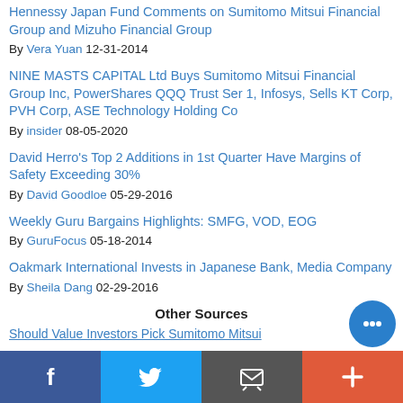Hennessy Japan Fund Comments on Sumitomo Mitsui Financial Group and Mizuho Financial Group
By Vera Yuan 12-31-2014
NINE MASTS CAPITAL Ltd Buys Sumitomo Mitsui Financial Group Inc, PowerShares QQQ Trust Ser 1, Infosys, Sells KT Corp, PVH Corp, ASE Technology Holding Co
By insider 08-05-2020
David Herro's Top 2 Additions in 1st Quarter Have Margins of Safety Exceeding 30%
By David Goodloe 05-29-2016
Weekly Guru Bargains Highlights: SMFG, VOD, EOG
By GuruFocus 05-18-2014
Oakmark International Invests in Japanese Bank, Media Company
By Sheila Dang 02-29-2016
Other Sources
Should Value Investors Pick Sumitomo Mitsui
Social share bar: Facebook, Twitter, Email, Plus